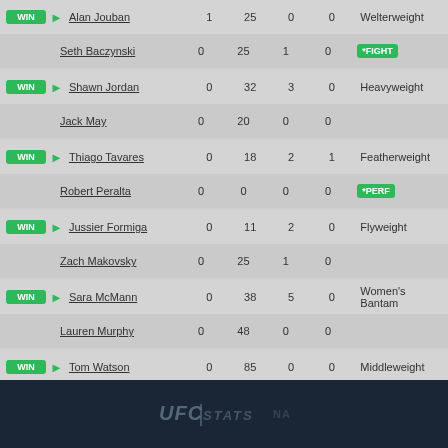| Result | Fighter | Col1 | Col2 | Col3 | Col4 | WeightClass |
| --- | --- | --- | --- | --- | --- | --- |
| WIN | Alan Jouban | 1 | 25 | 0 | 0 | Welterweight |
|  | Seth Baczynski | 0 | 25 | 1 | 0 | *FIGHT |
| WIN | Shawn Jordan | 0 | 32 | 3 | 0 | Heavyweight |
|  | Jack May | 0 | 20 | 0 | 0 |  |
| WIN | Thiago Tavares | 0 | 18 | 2 | 1 | Featherweight |
|  | Robert Peralta | 0 | 0 | 0 | 0 | *PERF |
| WIN | Jussier Formiga | 0 | 11 | 2 | 0 | Flyweight |
|  | Zach Makovsky | 0 | 25 | 1 | 0 |  |
| WIN | Sara McMann | 0 | 38 | 5 | 0 | Women's Bantam |
|  | Lauren Murphy | 0 | 48 | 0 | 0 |  |
| WIN | Tom Watson | 0 | 85 | 0 | 0 | Middleweight |
|  | Sam Alvey | 0 | 82 | 0 | 0 |  |
| WIN | Frankie Saenz | 0 | 67 | 5 | 0 | Bantamweight |
|  | Nolan Ticman | 0 | 25 | 0 | 0 |  |
[Figure (logo): UFC STATS logo in footer]